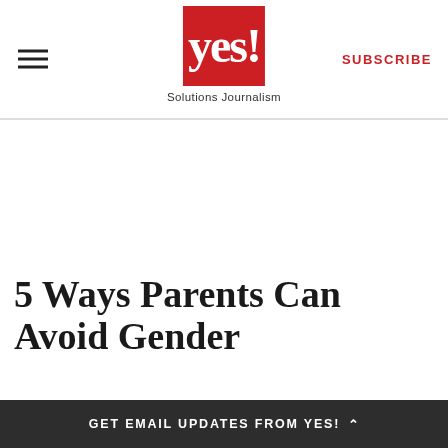yes! Solutions Journalism — SUBSCRIBE
5 Ways Parents Can Avoid Gender
GET EMAIL UPDATES FROM YES!